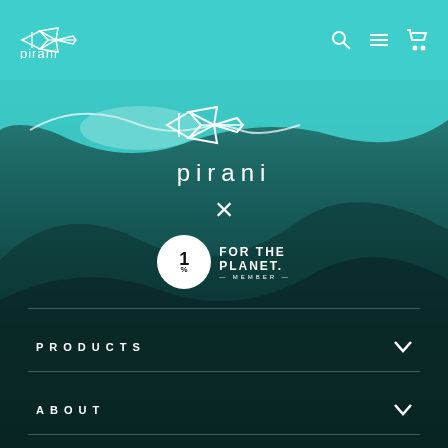pirani
[Figure (screenshot): Website screenshot showing Pirani brand logo and navigation. Top teal navigation bar with Pirani logo (geometric bird/fish shape) and icons. Main section with dark teal ocean rock background showing: Pirani logo (white geometric mark + pirani wordmark), X symbol, 1% For The Planet Member badge, horizontal divider, PRODUCTS menu item with chevron, horizontal divider, ABOUT menu item with chevron, horizontal divider, SALES menu item with chevron.]
PRODUCTS
ABOUT
SALES